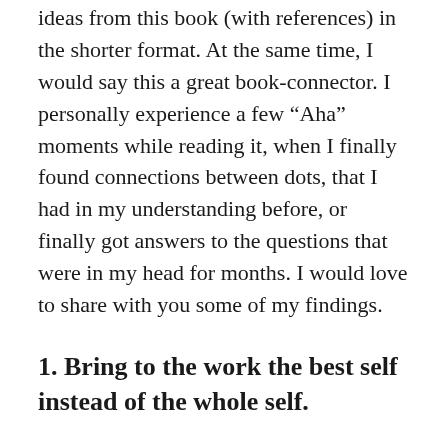ideas from this book (with references) in the shorter format. At the same time, I would say this a great book-connector. I personally experience a few “Aha” moments while reading it, when I finally found connections between dots, that I had in my understanding before, or finally got answers to the questions that were in my head for months. I would love to share with you some of my findings.
1. Bring to the work the best self instead of the whole self.
I remember myself when I first read this intriguing phrase about bring my whole self to work (can’t quite recall in which book it was). It affected me so much, just reading this phrase